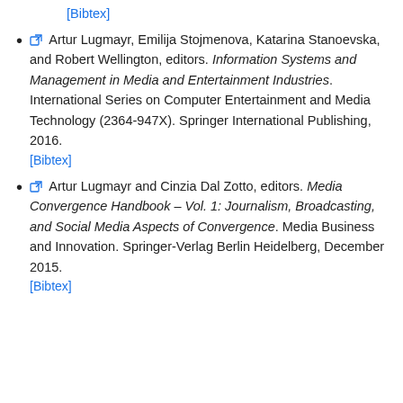[Bibtex]
Artur Lugmayr, Emilija Stojmenova, Katarina Stanoevska, and Robert Wellington, editors. Information Systems and Management in Media and Entertainment Industries. International Series on Computer Entertainment and Media Technology (2364-947X). Springer International Publishing, 2016. [Bibtex]
Artur Lugmayr and Cinzia Dal Zotto, editors. Media Convergence Handbook – Vol. 1: Journalism, Broadcasting, and Social Media Aspects of Convergence. Media Business and Innovation. Springer-Verlag Berlin Heidelberg, December 2015. [Bibtex]